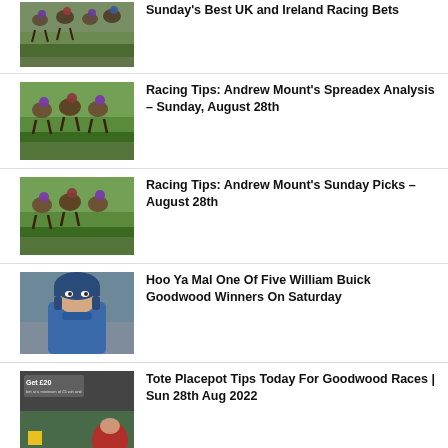[Figure (photo): Horse racing thumbnail - multiple horses and jockeys on track]
Sunday's Best UK and Ireland Racing Bets
[Figure (photo): Horse racing thumbnail - horses racing on green turf]
Racing Tips: Andrew Mount's Spreadex Analysis – Sunday, August 28th
[Figure (photo): Horse racing thumbnail - horses racing on green turf]
Racing Tips: Andrew Mount's Sunday Picks – August 28th
[Figure (photo): Jockey portrait - young male jockey in blue helmet and outfit]
Hoo Ya Mal One Of Five William Buick Goodwood Winners On Saturday
[Figure (photo): Promotional image with Get £20 text and race imagery]
Tote Placepot Tips Today For Goodwood Races | Sun 28th Aug 2022